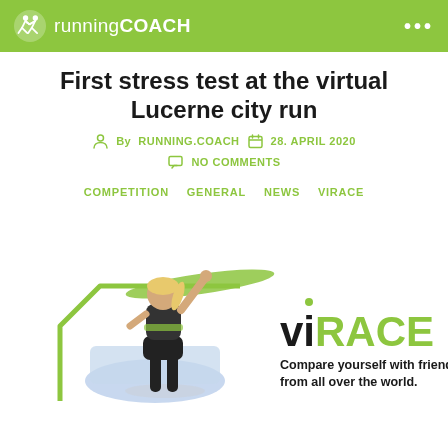runningCOACH
First stress test at the virtual Lucerne city run
By RUNNING.COACH   28. APRIL 2020   NO COMMENTS
COMPETITION   GENERAL   NEWS   VIRACE
[Figure (photo): Woman runner breaking finish tape, standing on a map displayed on a phone screen, with green graphic lines; viRACE logo and tagline 'Compare yourself with friends from all over the world.']